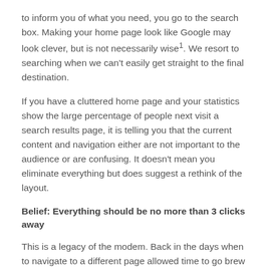to inform you of what you need, you go to the search box. Making your home page look like Google may look clever, but is not necessarily wise¹. We resort to searching when we can't easily get straight to the final destination.
If you have a cluttered home page and your statistics show the large percentage of people next visit a search results page, it is telling you that the current content and navigation either are not important to the audience or are confusing. It doesn't mean you eliminate everything but does suggest a rethink of the layout.
Belief: Everything should be no more than 3 clicks away
This is a legacy of the modem. Back in the days when to navigate to a different page allowed time to go brew a coffee, expecting people to keep clicking through pages led to people giving up. This was a far bigger deal for public facing web businesses but could also impact internal sites. These days, pages are usually much faster to load. Provided people